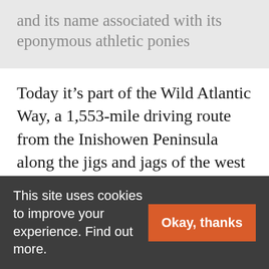and its name associated with its eponymous athletic ponies
Today it's part of the Wild Atlantic Way, a 1,553-mile driving route from the Inishowen Peninsula along the jigs and jags of the west coast of Ireland to Kinsale, County Cork. It is culturally rich in terms of music, songs and folklore and is a stronghold of the Gaelic language. It's also
This site uses cookies to improve your experience. Find out more.
Okay, thanks